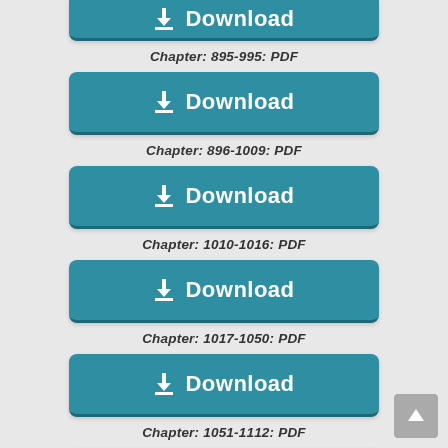[Figure (screenshot): Partial Download button at top of page]
Chapter: 895-995: PDF
[Figure (screenshot): Download button]
Chapter: 896-1009: PDF
[Figure (screenshot): Download button]
Chapter: 1010-1016: PDF
[Figure (screenshot): Download button]
Chapter: 1017-1050: PDF
[Figure (screenshot): Download button]
Chapter: 1051-1112: PDF
[Figure (screenshot): Partial Download button at bottom of page]